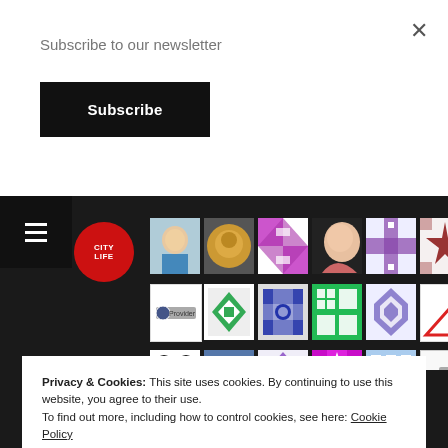Subscribe to our newsletter
Subscribe
[Figure (screenshot): Dark background grid of user avatar thumbnails showing various profile pictures and decorative tile patterns]
Privacy & Cookies: This site uses cookies. By continuing to use this website, you agree to their use.
To find out more, including how to control cookies, see here: Cookie Policy
Close and accept
2020 - 2022 © City Life Org